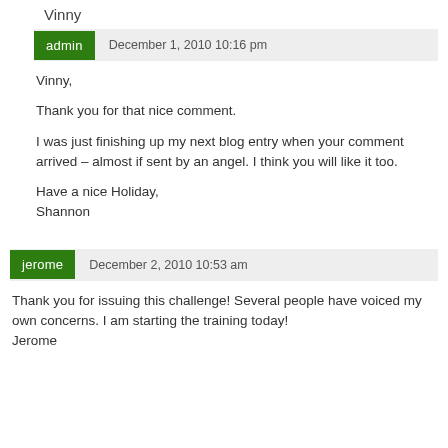Vinny
admin   December 1, 2010 10:16 pm
Vinny,

Thank you for that nice comment.

I was just finishing up my next blog entry when your comment arrived – almost if sent by an angel. I think you will like it too.

Have a nice Holiday,
Shannon
jerome   December 2, 2010 10:53 am
Thank you for issuing this challenge! Several people have voiced my own concerns. I am starting the training today!
Jerome